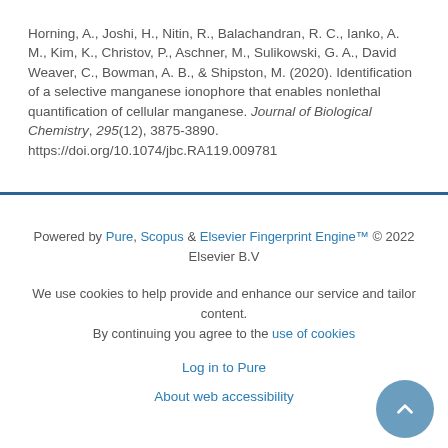Horning, A., Joshi, H., Nitin, R., Balachandran, R. C., Ianko, A. M., Kim, K., Christov, P., Aschner, M., Sulikowski, G. A., David Weaver, C., Bowman, A. B., & Shipston, M. (2020). Identification of a selective manganese ionophore that enables nonlethal quantification of cellular manganese. Journal of Biological Chemistry, 295(12), 3875-3890. https://doi.org/10.1074/jbc.RA119.009781
Powered by Pure, Scopus & Elsevier Fingerprint Engine™ © 2022 Elsevier B.V
We use cookies to help provide and enhance our service and tailor content. By continuing you agree to the use of cookies
Log in to Pure
About web accessibility